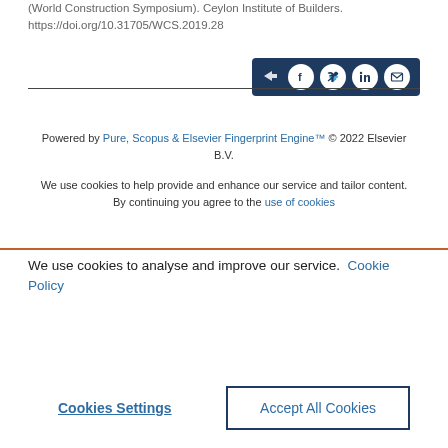(World Construction Symposium). Ceylon Institute of Builders. https://doi.org/10.31705/WCS.2019.28
[Figure (other): Share button bar with social media icons (share/forward, Facebook, Twitter, LinkedIn, email) on a dark navy background]
Powered by Pure, Scopus & Elsevier Fingerprint Engine™ © 2022 Elsevier B.V.
We use cookies to help provide and enhance our service and tailor content. By continuing you agree to the use of cookies
We use cookies to analyse and improve our service. Cookie Policy
Cookies Settings    Accept All Cookies